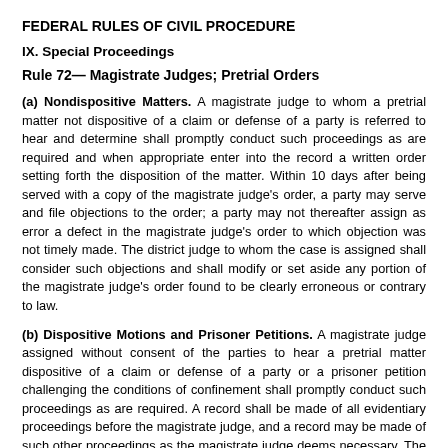FEDERAL RULES OF CIVIL PROCEDURE
IX. Special Proceedings
Rule 72— Magistrate Judges; Pretrial Orders
(a) Nondispositive Matters. A magistrate judge to whom a pretrial matter not dispositive of a claim or defense of a party is referred to hear and determine shall promptly conduct such proceedings as are required and when appropriate enter into the record a written order setting forth the disposition of the matter. Within 10 days after being served with a copy of the magistrate judge's order, a party may serve and file objections to the order; a party may not thereafter assign as error a defect in the magistrate judge's order to which objection was not timely made. The district judge to whom the case is assigned shall consider such objections and shall modify or set aside any portion of the magistrate judge's order found to be clearly erroneous or contrary to law.
(b) Dispositive Motions and Prisoner Petitions. A magistrate judge assigned without consent of the parties to hear a pretrial matter dispositive of a claim or defense of a party or a prisoner petition challenging the conditions of confinement shall promptly conduct such proceedings as are required. A record shall be made of all evidentiary proceedings before the magistrate judge, and a record may be made of such other proceedings as the magistrate judge deems necessary. The magistrate judge shall enter into the record a recommendation for disposition of the matter, including proposed findings of fact when appropriate. The clerk shall forthwith mail copies to all parties.